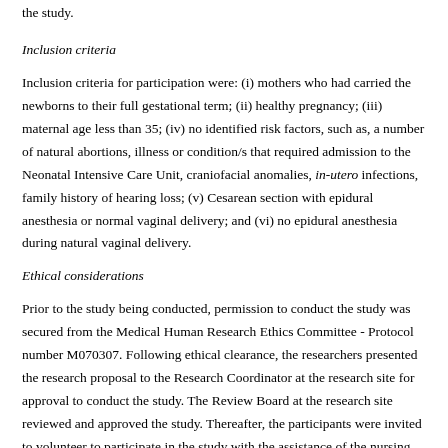the study.
Inclusion criteria
Inclusion criteria for participation were: (i) mothers who had carried the newborns to their full gestational term; (ii) healthy pregnancy; (iii) maternal age less than 35; (iv) no identified risk factors, such as, a number of natural abortions, illness or condition/s that required admission to the Neonatal Intensive Care Unit, craniofacial anomalies, in-utero infections, family history of hearing loss; (v) Cesarean section with epidural anesthesia or normal vaginal delivery; and (vi) no epidural anesthesia during natural vaginal delivery.
Ethical considerations
Prior to the study being conducted, permission to conduct the study was secured from the Medical Human Research Ethics Committee - Protocol number M070307. Following ethical clearance, the researchers presented the research proposal to the Research Coordinator at the research site for approval to conduct the study. The Review Board at the research site reviewed and approved the study. Thereafter, the participants were invited to volunteer to participate in the study with the assistance of the nursing staff in the maternity ward. The following